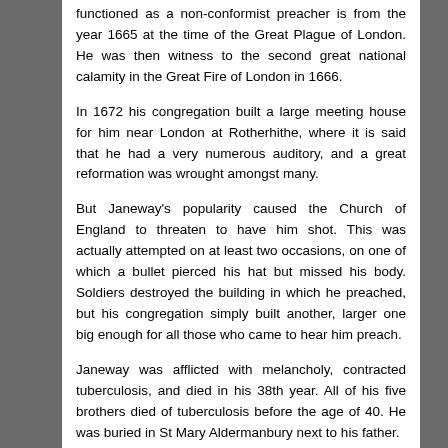functioned as a non-conformist preacher is from the year 1665 at the time of the Great Plague of London. He was then witness to the second great national calamity in the Great Fire of London in 1666.
In 1672 his congregation built a large meeting house for him near London at Rotherhithe, where it is said that he had a very numerous auditory, and a great reformation was wrought amongst many.
But Janeway's popularity caused the Church of England to threaten to have him shot. This was actually attempted on at least two occasions, on one of which a bullet pierced his hat but missed his body. Soldiers destroyed the building in which he preached, but his congregation simply built another, larger one big enough for all those who came to hear him preach.
Janeway was afflicted with melancholy, contracted tuberculosis, and died in his 38th year. All of his five brothers died of tuberculosis before the age of 40. He was buried in St Mary Aldermanbury next to his father.